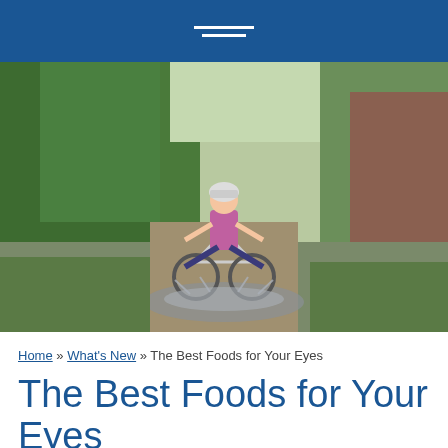[Figure (photo): A young girl wearing a helmet and pink striped shirt rides a bicycle through a muddy puddle on a rural dirt path, arms out joyfully, with green trees in the background.]
Home » What's New » The Best Foods for Your Eyes
The Best Foods for Your Eyes